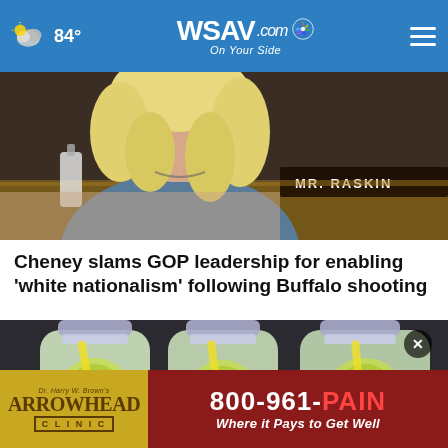84° WSAV.com On Your Side
[Figure (photo): Close-up photo of a woman with blonde hair at what appears to be a congressional hearing, with a nameplate partially visible reading something with 'FUSION' or similar text in the background.]
Cheney slams GOP leadership for enabling 'white nationalism' following Buffalo shooting
[Figure (photo): Photo of three large plastic water bottles filled with water and citrus slices (lemon/lime), viewed from above at an angle.]
[Figure (other): Advertisement for Arrowhead Clinic by Dr. Harry W. Brown's. Phone number 800-961-PAIN. Where it Pays to Get Well.]